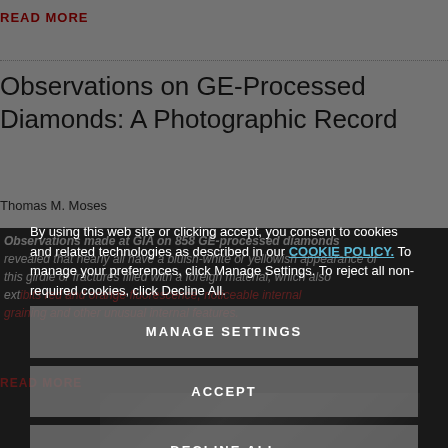READ MORE
Observations on GE-Processed Diamonds: A Photographic Record
Thomas M. Moses
Observations made at GIA on 858 GE-processed diamonds revealed that nearly all have a bluish-white or yellowish appearance of the girdle or fractures filled with a foreign material, which also exhibits red and orange fluorescence, noticeable internal graining and other unusual internal features.
READ MORE
[Figure (photo): Photograph of diamonds or gemstones]
By using this web site or clicking accept, you consent to cookies and related technologies as described in our COOKIE POLICY. To manage your preferences, click Manage Settings. To reject all non-required cookies, click Decline All.
MANAGE SETTINGS
ACCEPT
DECLINE ALL